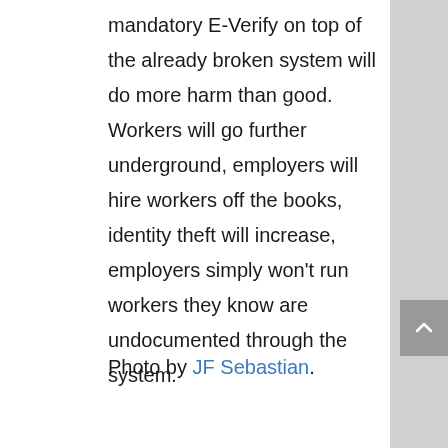mandatory E-Verify on top of the already broken system will do more harm than good.  Workers will go further underground, employers will hire workers off the books, identity theft will increase, employers simply won't run workers they know are undocumented through the system.
Photo by JF Sebastian.